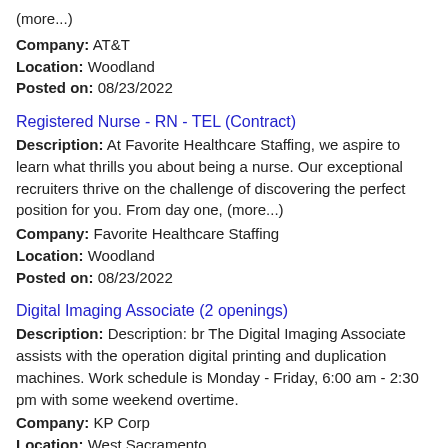(more...)
Company: AT&T
Location: Woodland
Posted on: 08/23/2022
Registered Nurse - RN - TEL (Contract)
Description: At Favorite Healthcare Staffing, we aspire to learn what thrills you about being a nurse. Our exceptional recruiters thrive on the challenge of discovering the perfect position for you. From day one, (more...)
Company: Favorite Healthcare Staffing
Location: Woodland
Posted on: 08/23/2022
Digital Imaging Associate (2 openings)
Description: Description: br The Digital Imaging Associate assists with the operation digital printing and duplication machines. Work schedule is Monday - Friday, 6:00 am - 2:30 pm with some weekend overtime.
Company: KP Corp
Location: West Sacramento
Posted on: 08/23/2022